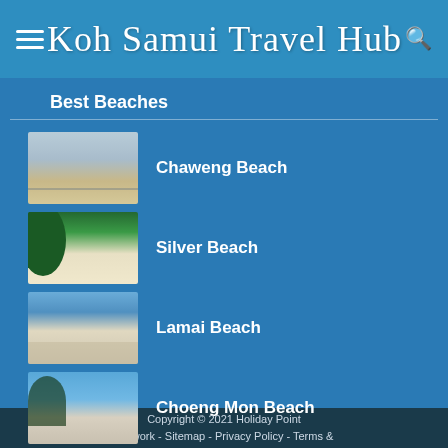Koh Samui Travel Hub
Best Beaches
Chaweng Beach
Silver Beach
Lamai Beach
Choeng Mon Beach
Copyright © 2021 Holiday Point Network - Sitemap - Privacy Policy - Terms &